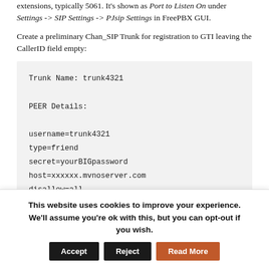extensions, typically 5061. It's shown as Port to Listen On under Settings -> SIP Settings -> PJsip Settings in FreePBX GUI.
Create a preliminary Chan_SIP Trunk for registration to GTI leaving the CallerID field empty:
Trunk Name: trunk4321

PEER Details:

username=trunk4321
type=friend
secret=yourBIGpassword
host=xxxxxx.mvnoserver.com
disallow=all
This website uses cookies to improve your experience. We'll assume you're ok with this, but you can opt-out if you wish.